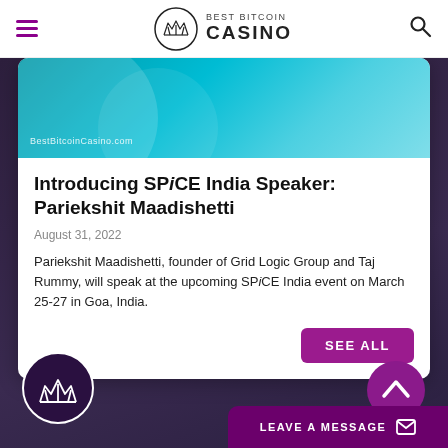Best Bitcoin Casino
[Figure (screenshot): Teal/blue abstract image with circular shapes and watermark 'BestBitcoinCasino.com']
Introducing SPiCE India Speaker: Pariekshit Maadishetti
August 31, 2022
Pariekshit Maadishetti, founder of Grid Logic Group and Taj Rummy, will speak at the upcoming SPiCE India event on March 25-27 in Goa, India.
SEE ALL
[Figure (logo): Best Bitcoin Casino crown logo in white on dark purple circle, footer left]
[Figure (illustration): Scroll-to-top arrow button, purple circle, bottom right]
LEAVE A MESSAGE